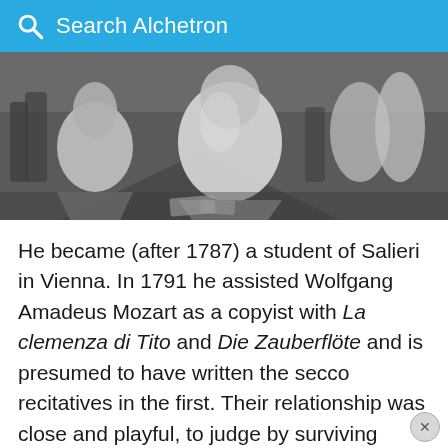Search Alchetron
[Figure (photo): Black and white photograph showing several figures in draped robes or costumes, kneeling or crouching on a stage or floor, with others standing in the background.]
He became (after 1787) a student of Salieri in Vienna. In 1791 he assisted Wolfgang Amadeus Mozart as a copyist with La clemenza di Tito and Die Zauberflöte and is presumed to have written the secco recitatives in the first. Their relationship was close and playful, to judge by surviving letters to Constanze, whom Süssmayr accompanied to Baden.
Covid-19